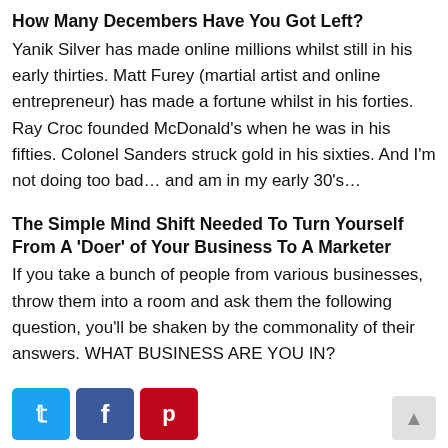How Many Decembers Have You Got Left?
Yanik Silver has made online millions whilst still in his early thirties. Matt Furey (martial artist and online entrepreneur) has made a fortune whilst in his forties. Ray Croc founded McDonald’s when he was in his fifties. Colonel Sanders struck gold in his sixties. And I’m not doing too bad… and am in my early 30’s…
The Simple Mind Shift Needed To Turn Yourself From A ‘Doer’ of Your Business To A Marketer
If you take a bunch of people from various businesses, throw them into a room and ask them the following question, you’ll be shaken by the commonality of their answers. WHAT BUSINESS ARE YOU IN?
[Figure (infographic): Three social media share buttons: Twitter (blue), Facebook (dark blue), Pinterest (red), plus a scroll-to-top button (grey) on the right.]